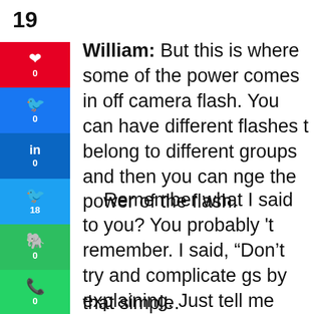19
William:  But this is where some of the power comes in off camera flash.  You can have different flashes t belong to different groups and then you can nge the power of the flash.
Remember what I said to you? You probably 't remember.  I said, “Don’t try and complicate gs by explaining. Just tell me what you need me to
that simple.